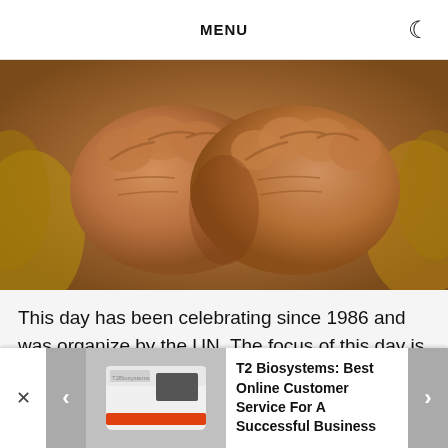MENU
[Figure (photo): Close-up photo of two clenched fists together, tightly bound, with blonde hair visible in the background — evoking themes of captivity or slavery.]
This day has been celebrating since 1986 and was organize by the UN. The focus of this day is on eradicating contemporary forms of slavery, such as
[Figure (photo): Advertisement banner showing a T2 Biosystems medical device (white and orange machine) with navigation arrows and close button. Text reads: T2 Biosystems: Best Online Customer Service For A Successful Business]